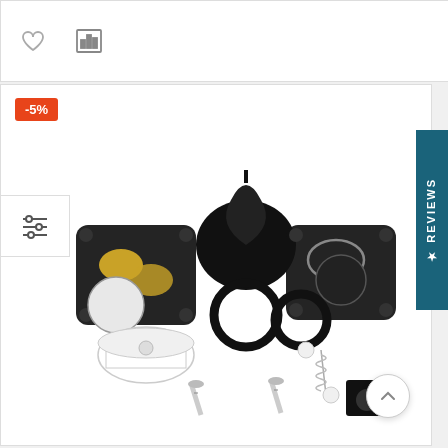[Figure (screenshot): E-commerce product page showing a mechanical repair kit with gaskets, diaphragms, O-rings, screws, springs, and other small parts laid out on white background. Page includes a -5% discount badge, heart/chart icons, filter button, Reviews tab on right side, and scroll-up button.]